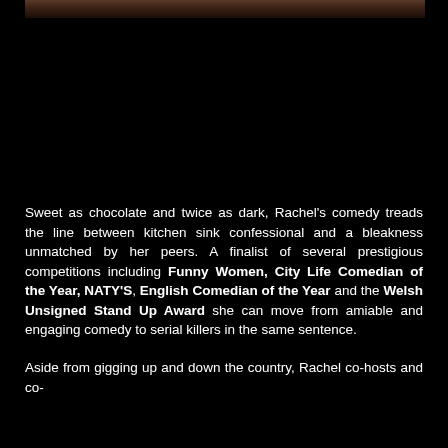[Figure (photo): Top strip showing the bottom edge of a performer's face/photo against a black background]
Sweet as chocolate and twice as dark, Rachel's comedy treads the line between kitchen sink confessional and a bleakness unmatched by her peers. A finalist of several prestigious competitions including Funny Women, City Life Comedian of the Year, NATY'S, English Comedian of the Year and the Welsh Unsigned Stand Up Award she can move from amiable and engaging comedy to serial killers in the same sentence.
Aside from gigging up and down the country, Rachel co-hosts and co-